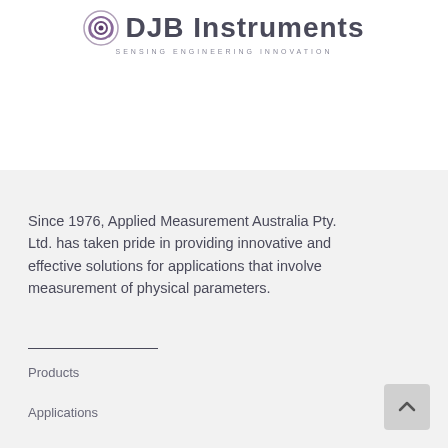[Figure (logo): DJB Instruments logo with spiral/ear icon and tagline SENSING ENGINEERING INNOVATION]
Since 1976, Applied Measurement Australia Pty. Ltd. has taken pride in providing innovative and effective solutions for applications that involve measurement of physical parameters.
Products
Applications